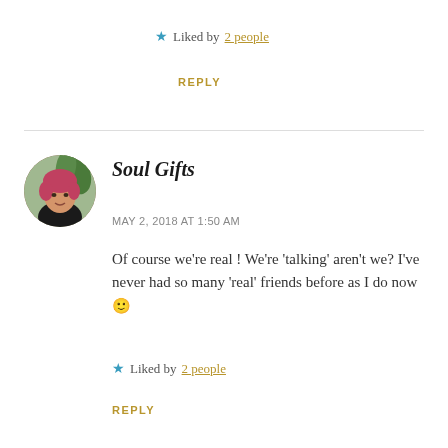★ Liked by 2 people
REPLY
[Figure (photo): Circular avatar photo of a woman with short pink/red hair wearing a black top, with green foliage in the background]
Soul Gifts
MAY 2, 2018 AT 1:50 AM
Of course we're real ! We're 'talking' aren't we? I've never had so many 'real' friends before as I do now 🙂
★ Liked by 2 people
REPLY